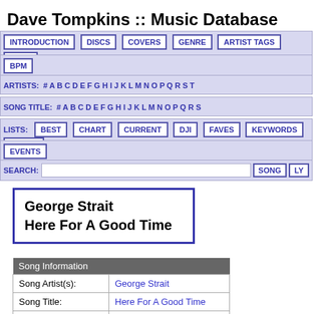Dave Tompkins :: Music Database
INTRODUCTION  DISCS  COVERS  GENRE  ARTIST TAGS  YEAR  BPM
ARTISTS: # A B C D E F G H I J K L M N O P Q R S T
SONG TITLE: # A B C D E F G H I J K L M N O P Q R S
LISTS: BEST CHART CURRENT DJI FAVES KEYWORDS SERIES
EVENTS
SEARCH: SONG LY
George Strait
Here For A Good Time
| Song Information |  |
| --- | --- |
| Song Artist(s): | George Strait |
| Song Title: | Here For A Good Time |
| Year: | 2011 |